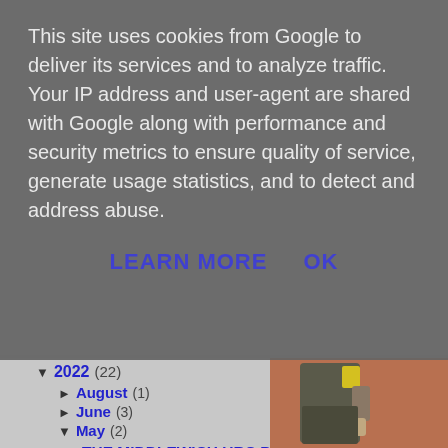This site uses cookies from Google to deliver its services and to analyze traffic. Your IP address and user-agent are shared with Google along with performance and security metrics to ensure quality of service, generate usage statistics, and to detect and address abuse.
LEARN MORE   OK
▼ 2022 (22)
► August (1)
► June (3)
▼ May (2)
THE MIDDLEWICH URC PLATINUM JUBILEE COMMUNITY PROJECT
THE LIME BEDS by Frank Smith
[Figure (photo): Photo of a person in a grey outfit standing against a brick wall, viewed from behind/side angle]